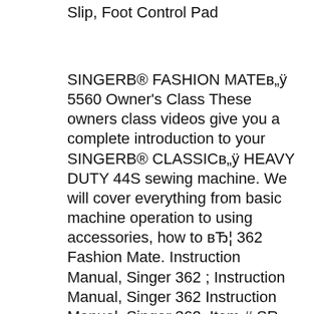Slip, Foot Control Pad
SINGERB® FASHION MATEв„ÿ 5560 Owner's Class These owners class videos give you a complete introduction to your SINGERB® CLASSICв„ÿ HEAVY DUTY 44S sewing machine. We will cover everything from basic machine operation to using accessories, how to вЂ¦ 362 Fashion Mate. Instruction Manual, Singer 362 ; Instruction Manual, Singer 362 Instruction Manual, Singer 362. Item # SR-362 Condition Brand New Product Description. This item is non-returnable and non-refundable. $10.99 $9.99 Save 9%-+ Free Shipping on all USA Orders over $49 * Excluding disqualified products. You May Also Like.